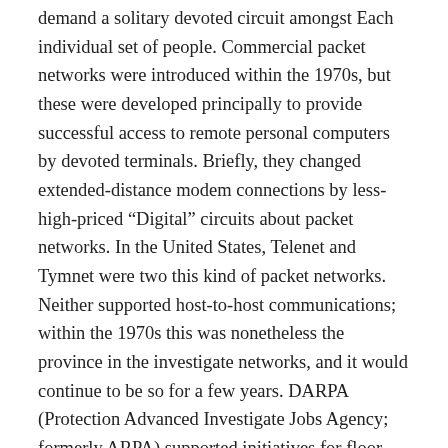demand a solitary devoted circuit amongst Each individual set of people. Commercial packet networks were introduced within the 1970s, but these were developed principally to provide successful access to remote personal computers by devoted terminals. Briefly, they changed extended-distance modem connections by less-high-priced “Digital” circuits about packet networks. In the United States, Telenet and Tymnet were two this kind of packet networks. Neither supported host-to-host communications; within the 1970s this was nonetheless the province in the investigate networks, and it would continue to be so for a few years. DARPA (Protection Advanced Investigate Jobs Agency; formerly ARPA) supported initiatives for floor-based mostly and satellite-based mostly packet networks. The bottom-based mostly